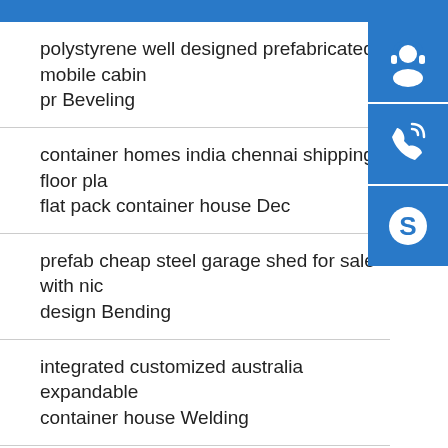polystyrene well designed prefabricated mobile cabin pr Beveling
container homes india chennai shipping floor pla flat pack container house Dec
prefab cheap steel garage shed for sale with nic design Bending
integrated customized australia expandable container house Welding
mini 7d movie theater 6 9 12 18 24 persons xd motion ci Beveling
fashion designed diaphanous prefab houses pol Decoiling